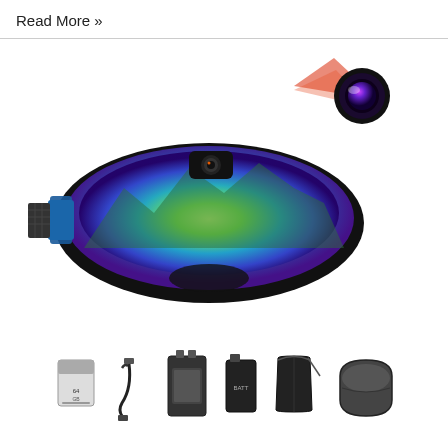Read More »
[Figure (photo): Ski goggles with integrated camera. The goggles have blue/purple/green mirrored lenses with a black frame and strap. A small camera module is mounted on top center of the goggles with a red laser/light beam projecting upward-right toward a separate camera lens graphic showing a purple/blue lens element.]
[Figure (photo): Accessories for the ski goggles laid out in a row: SD memory card, USB charging cable, battery charger/cradle, spare battery pack, soft carrying pouch/bag, and a hard carrying case.]